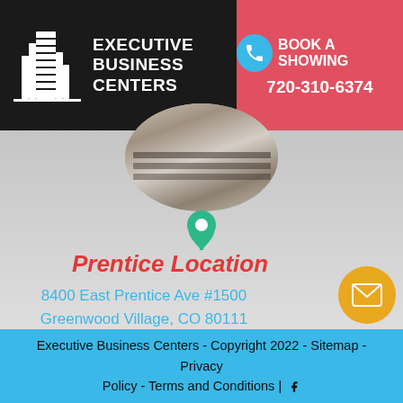[Figure (logo): Executive Business Centers logo with stylized building icon and white text on dark background]
BOOK A SHOWING 720-310-6374
[Figure (photo): Aerial view of a building in a circular crop]
[Figure (illustration): Green location/map pin icon]
Prentice Location
8400 East Prentice Ave #1500
Greenwood Village, CO 80111
(303) 771-9926
G+
[Figure (illustration): Yellow circle email icon and red circle phone icon on right side]
Executive Business Centers - Copyright 2022 - Sitemap - Privacy Policy - Terms and Conditions | f